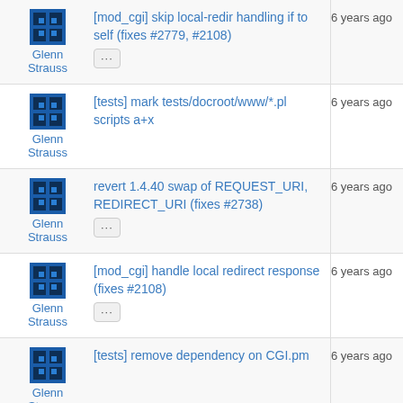Glenn Strauss | [mod_cgi] skip local-redir handling if to self (fixes #2779, #2108) | 6 years ago
Glenn Strauss | [tests] mark tests/docroot/www/*.pl scripts a+x | 6 years ago
Glenn Strauss | revert 1.4.40 swap of REQUEST_URI, REDIRECT_URI (fixes #2738) | 6 years ago
Glenn Strauss | [mod_cgi] handle local redirect response (fixes #2108) | 6 years ago
Glenn Strauss | [tests] remove dependency on CGI.pm | 6 years ago